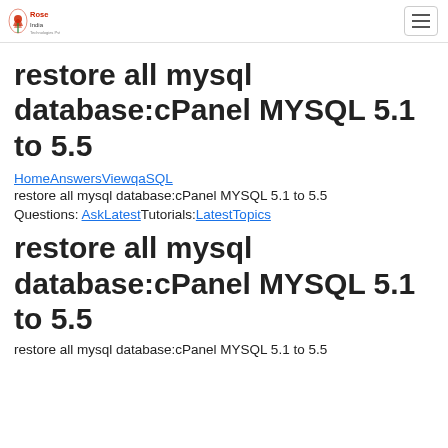Rose India [logo] [hamburger menu]
restore all mysql database:cPanel MYSQL 5.1 to 5.5
HomeAnswersViewqaSQL
restore all mysql database:cPanel MYSQL 5.1 to 5.5
Questions: AskLatestTutorials:LatestTopics
restore all mysql database:cPanel MYSQL 5.1 to 5.5
restore all mysql database:cPanel MYSQL 5.1 to 5.5